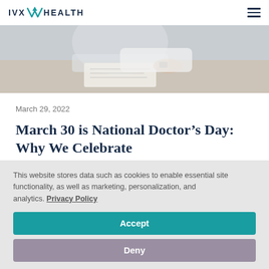IVX HEALTH
[Figure (photo): Hero image showing a person in a white coat sitting at a desk, writing or reviewing documents. Soft, neutral background tones.]
March 29, 2022
March 30 is National Doctor's Day: Why We Celebrate
This website stores data such as cookies to enable essential site functionality, as well as marketing, personalization, and analytics. Privacy Policy
Accept
Deny